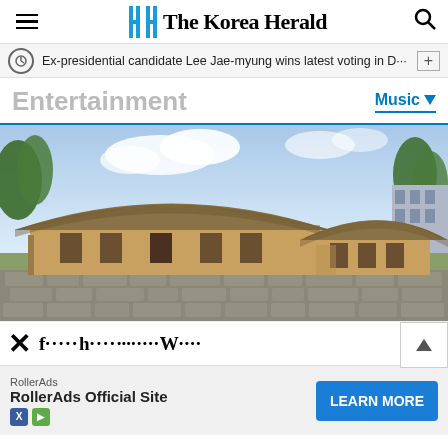The Korea Herald
Ex-presidential candidate Lee Jae-myung wins latest voting in D···
Entertainment
Music
[Figure (photo): Traditional Korean thatched-roof houses (hanok) with stone walls, trees in background, sunny day]
RollerAds
RollerAds Official Site
LEARN MORE